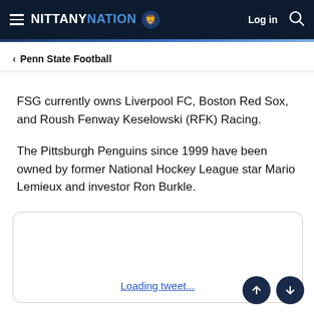NITTANY NATION  Log in
< Penn State Football
FSG currently owns Liverpool FC, Boston Red Sox, and Roush Fenway Keselowski (RFK) Racing.
The Pittsburgh Penguins since 1999 have been owned by former National Hockey League star Mario Lemieux and investor Ron Burkle.
Loading tweet...